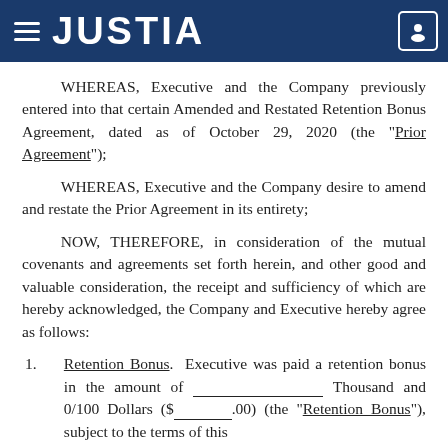JUSTIA
WHEREAS, Executive and the Company previously entered into that certain Amended and Restated Retention Bonus Agreement, dated as of October 29, 2020 (the "Prior Agreement");
WHEREAS, Executive and the Company desire to amend and restate the Prior Agreement in its entirety;
NOW, THEREFORE, in consideration of the mutual covenants and agreements set forth herein, and other good and valuable consideration, the receipt and sufficiency of which are hereby acknowledged, the Company and Executive hereby agree as follows:
1. Retention Bonus. Executive was paid a retention bonus in the amount of ___________________ Thousand and 0/100 Dollars ($_______.00) (the "Retention Bonus"), subject to the terms of this